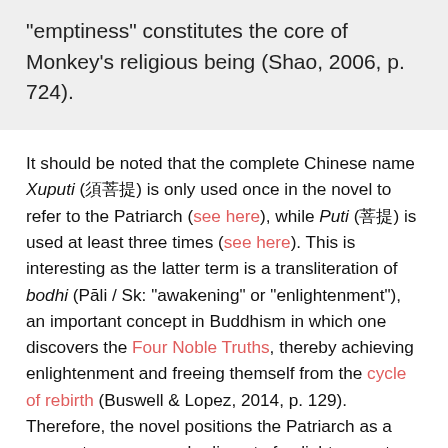“emptiness” constitutes the core of Monkey’s religious being (Shao, 2006, p. 724).
It should be noted that the complete Chinese name Xuputi (须菩提) is only used once in the novel to refer to the Patriarch (see here), while Puti (菩提) is used at least three times (see here). This is interesting as the latter term is a transliteration of bodhi (Pāli / Sk: “awakening” or “enlightenment”), an important concept in Buddhism in which one discovers the Four Noble Truths, thereby achieving enlightenment and freeing themself from the cycle of rebirth (Buswell & Lopez, 2014, p. 129). Therefore, the novel positions the Patriarch as a means to or even embodiment of enlightenment. This is fitting